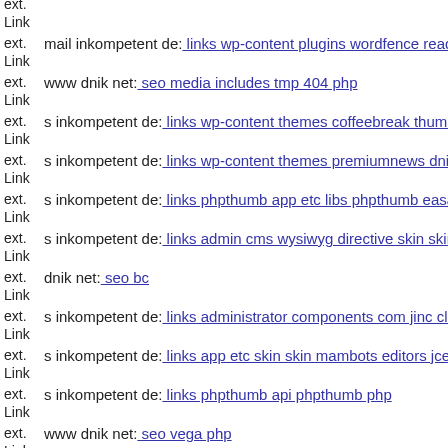ext. Link  Link
ext. Link  mail inkompetent de: links wp-content plugins wordfence read
ext. Link  www dnik net: seo media includes tmp 404 php
ext. Link  s inkompetent de: links wp-content themes coffeebreak thumb
ext. Link  s inkompetent de: links wp-content themes premiumnews dnik
ext. Link  s inkompetent de: links phpthumb app etc libs phpthumb easa p
ext. Link  s inkompetent de: links admin cms wysiwyg directive skin skin
ext. Link  dnik net: seo bc
ext. Link  s inkompetent de: links administrator components com jinc cla
ext. Link  s inkompetent de: links app etc skin skin mambots editors jce js
ext. Link  s inkompetent de: links phpthumb api phpthumb php
ext. Link  www dnik net: seo vega php